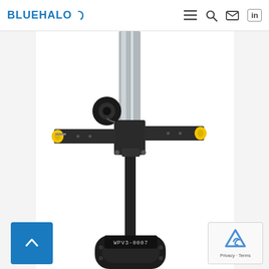BLUEHALO (navigation with menu, search, mail, linkedin icons)
[Figure (photo): Close-up photograph of a BlueHalo engineering device, likely an antenna or sensor mast assembly. The device features a vertical silver/metallic pole, a black cross-shaped bracket mount with two horizontal arms each ending in yellow-tipped connectors, connected via a black carbon fiber or metal shaft to a base unit labeled WPV3-0007. The background is white.]